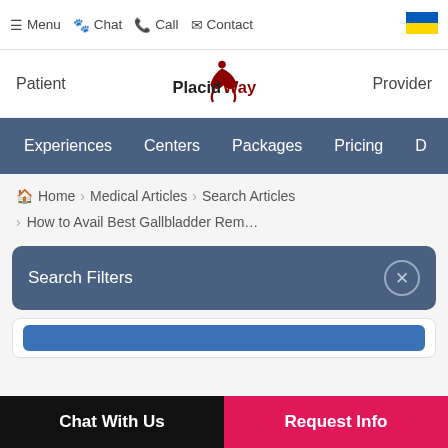☰ Menu  🐾 Chat  ☎ Call  ✉ Contact
[Figure (logo): PlacidWay logo with red stylized figure and red/dark text]
Patient  PlacidWay  Provider
Experiences  Centers  Packages  Pricing  D…
🏠 Home › Medical Articles › Search Articles
› How to Avail Best Gallbladder Rem…
Search Filters
Chat With Us    Request Info